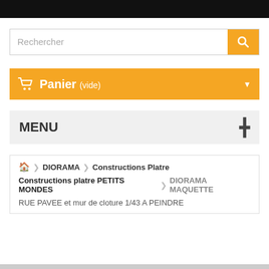[Figure (screenshot): Black header bar at top of webpage]
Rechercher
Panier (vide)
MENU
DIORAMA › Constructions Platre › Constructions platre PETITS MONDES › DIORAMA MAQUETTE › RUE PAVEE et mur de cloture 1/43 A PEINDRE